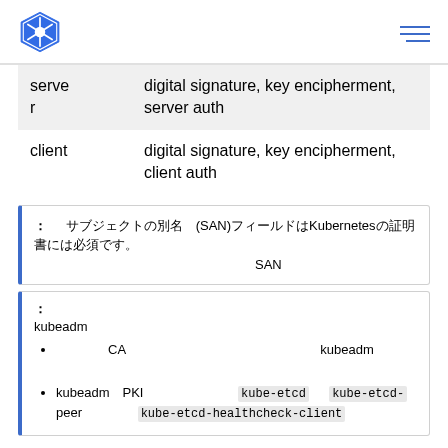Kubernetes logo and navigation
| server | digital signature, key encipherment, server auth |
| client | digital signature, key encipherment, client auth |
注意: サブジェクトの別名 (SAN)フィールドはKubernetesの証明書には必須です。SANフィールドの設定方法については、
注意: kubeadmの設定
kubeadmが管理するCAについて、もしkubeadmコマンドを何らかの理由で実行する場合
kubeadmのPKIディレクトリは kube-etcd と kube-etcd-
peer、kube-etcd-healthcheck-client の